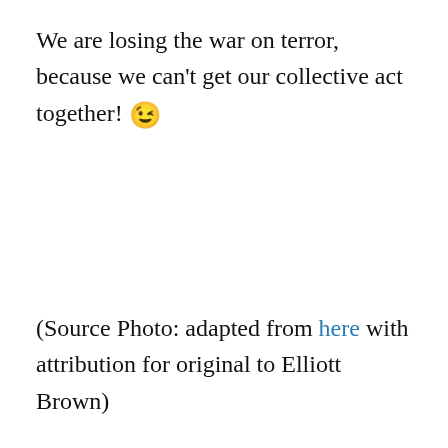We are losing the war on terror, because we can't get our collective act together! 😉
(Source Photo: adapted from here with attribution for original to Elliott Brown)
December 8, 2015    💬 Leave a Reply
First They Came For…